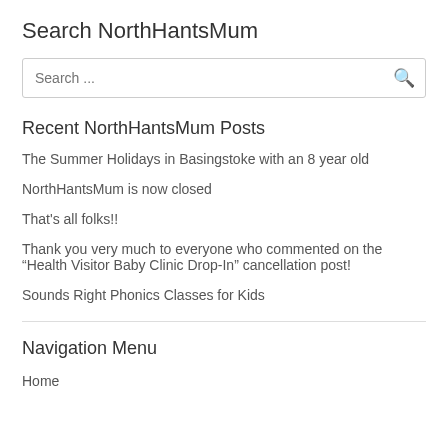Search NorthHantsMum
[Figure (screenshot): Search input box with placeholder text 'Search ...' and a search icon on the right]
Recent NorthHantsMum Posts
The Summer Holidays in Basingstoke with an 8 year old
NorthHantsMum is now closed
That's all folks!!
Thank you very much to everyone who commented on the “Health Visitor Baby Clinic Drop-In” cancellation post!
Sounds Right Phonics Classes for Kids
Navigation Menu
Home